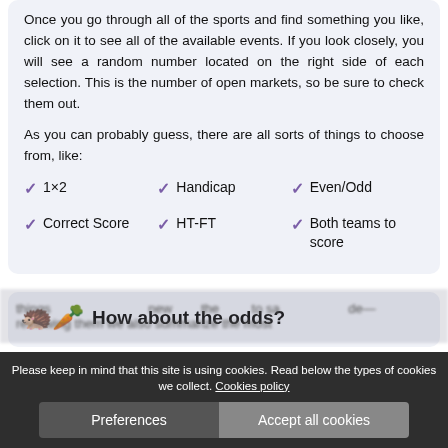Once you go through all of the sports and find something you like, click on it to see all of the available events. If you look closely, you will see a random number located on the right side of each selection. This is the number of open markets, so be sure to check them out.
As you can probably guess, there are all sorts of things to choose from, like:
1×2
Handicap
Even/Odd
Correct Score
HT-FT
Both teams to score
How about the odds?
Please keep in mind that this site is using cookies. Read below the types of cookies we collect. Cookies policy